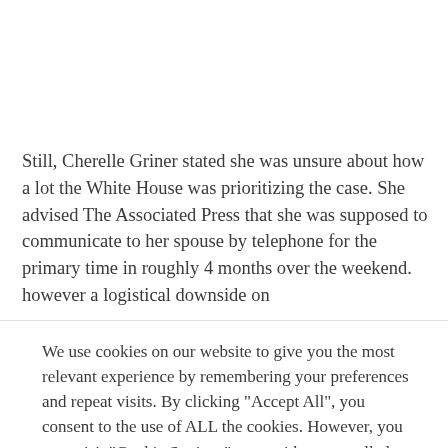Still, Cherelle Griner stated she was unsure about how a lot the White House was prioritizing the case. She advised The Associated Press that she was supposed to communicate to her spouse by telephone for the primary time in roughly 4 months over the weekend. however a logistical downside on
We use cookies on our website to give you the most relevant experience by remembering your preferences and repeat visits. By clicking "Accept All", you consent to the use of ALL the cookies. However, you may visit "Cookie Settings" to provide a controlled consent.
Cookie Settings  Accept All